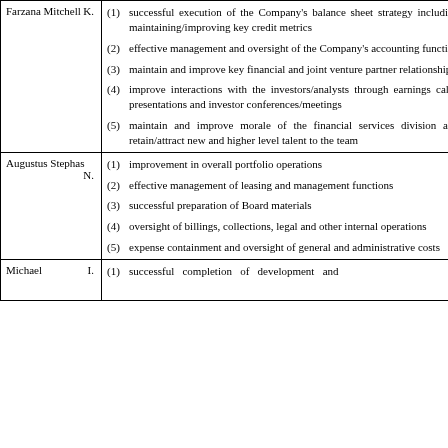| Name | Performance Criteria |
| --- | --- |
| Farzana Mitchell K. | (1) successful execution of the Company's balance sheet strategy including maintaining/improving key credit metrics
(2) effective management and oversight of the Company's accounting function
(3) maintain and improve key financial and joint venture partner relationships
(4) improve interactions with the investors/analysts through earnings calls, presentations and investor conferences/meetings
(5) maintain and improve morale of the financial services division and retain/attract new and higher level talent to the team |
| Augustus Stephas N. | (1) improvement in overall portfolio operations
(2) effective management of leasing and management functions
(3) successful preparation of Board materials
(4) oversight of billings, collections, legal and other internal operations
(5) expense containment and oversight of general and administrative costs |
| Michael I. | (1) successful completion of development and... |